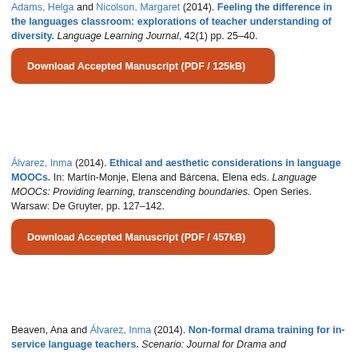Adams, Helga and Nicolson, Margaret (2014). Feeling the difference in the languages classroom: explorations of teacher understanding of diversity. Language Learning Journal, 42(1) pp. 25–40.
Download Accepted Manuscript (PDF / 125kB)
Álvarez, Inma (2014). Ethical and aesthetic considerations in language MOOCs. In: Martín-Monje, Elena and Bárcena, Elena eds. Language MOOCs: Providing learning, transcending boundaries. Open Series. Warsaw: De Gruyter, pp. 127–142.
Download Accepted Manuscript (PDF / 457kB)
Beaven, Ana and Álvarez, Inma (2014). Non-formal drama training for in-service language teachers. Scenario: Journal for Drama and